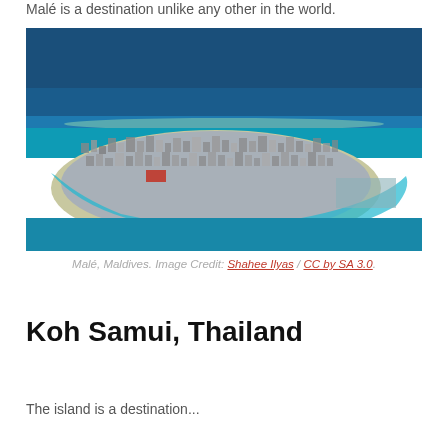Malé is a destination unlike any other in the world.
[Figure (photo): Aerial photograph of Malé, Maldives — a densely built island city surrounded by turquoise and deep blue ocean water, with a reef visible in the background.]
Malé, Maldives. Image Credit: Shahee Ilyas / CC by SA 3.0.
Koh Samui, Thailand
The island is a destination...